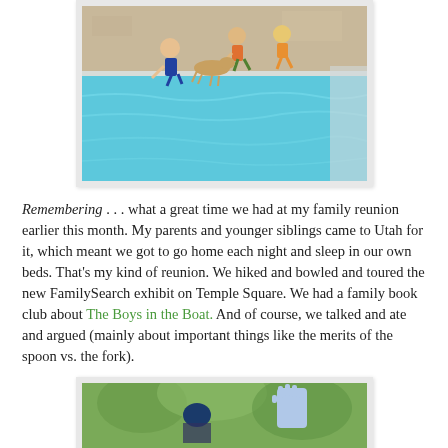[Figure (photo): Photo of children jumping into a swimming pool, with blue-turquoise water visible and a patio area behind them. White border/frame around the photo.]
Remembering . . . what a great time we had at my family reunion earlier this month. My parents and younger siblings came to Utah for it, which meant we got to go home each night and sleep in our own beds. That's my kind of reunion. We hiked and bowled and toured the new FamilySearch exhibit on Temple Square. We had a family book club about The Boys in the Boat. And of course, we talked and ate and argued (mainly about important things like the merits of the spoon vs. the fork).
[Figure (photo): Partial photo showing green foliage/trees in background, a person wearing a dark hat, and a hand raised in the right portion of the image. White border/frame around the photo.]